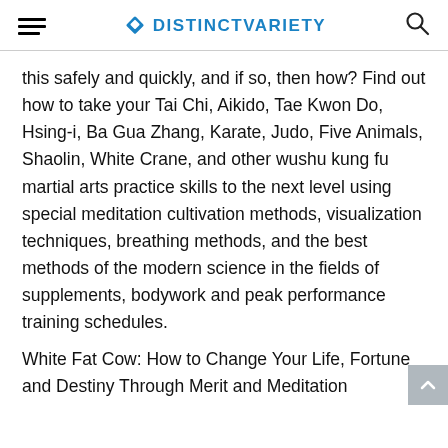DISTINCTVARIETY
this safely and quickly, and if so, then how? Find out how to take your Tai Chi, Aikido, Tae Kwon Do, Hsing-i, Ba Gua Zhang, Karate, Judo, Five Animals, Shaolin, White Crane, and other wushu kung fu martial arts practice skills to the next level using special meditation cultivation methods, visualization techniques, breathing methods, and the best methods of the modern science in the fields of supplements, bodywork and peak performance training schedules.
White Fat Cow: How to Change Your Life, Fortune and Destiny Through Merit and Meditation